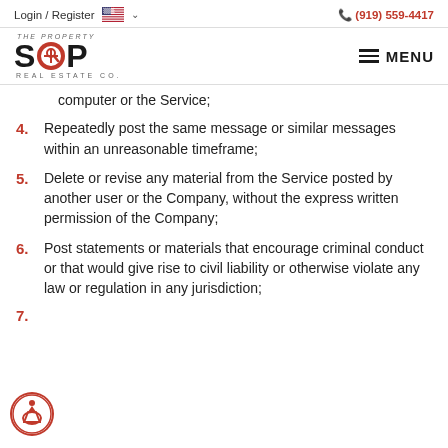Login / Register  🇺🇸 ∨    📞 (919) 559-4417
[Figure (logo): The Property Shop Real Estate Co. logo with SHOP text and circular red icon replacing O, MENU button on right]
computer or the Service;
4. Repeatedly post the same message or similar messages within an unreasonable timeframe;
5. Delete or revise any material from the Service posted by another user or the Company, without the express written permission of the Company;
6. Post statements or materials that encourage criminal conduct or that would give rise to civil liability or otherwise violate any law or regulation in any jurisdiction;
7. (partial, cut off at bottom)